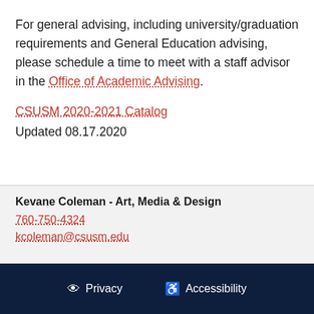For general advising, including university/graduation requirements and General Education advising, please schedule a time to meet with a staff advisor in the Office of Academic Advising.
CSUSM 2020-2021 Catalog
Updated 08.17.2020
Kevane Coleman - Art, Media & Design
760-750-4324
kcoleman@csusm.edu
Privacy   Accessibility